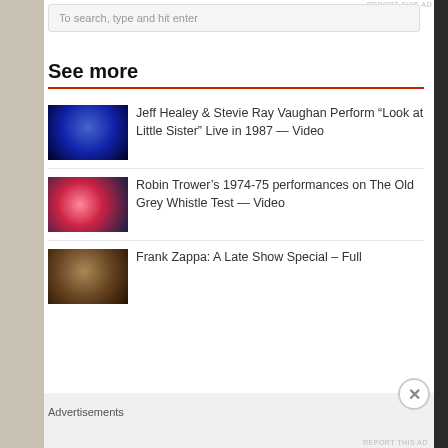To search, type and hit enter
See more
[Figure (photo): Thumbnail of Jeff Healey and Stevie Ray Vaughan performing guitar]
Jeff Healey & Stevie Ray Vaughan Perform “Look at Little Sister” Live in 1987 — Video
[Figure (photo): Thumbnail of Robin Trower performing on The Old Grey Whistle Test]
Robin Trower’s 1974-75 performances on The Old Grey Whistle Test — Video
[Figure (photo): Thumbnail of Frank Zappa late show]
Frank Zappa: A Late Show Special – Full
Advertisements